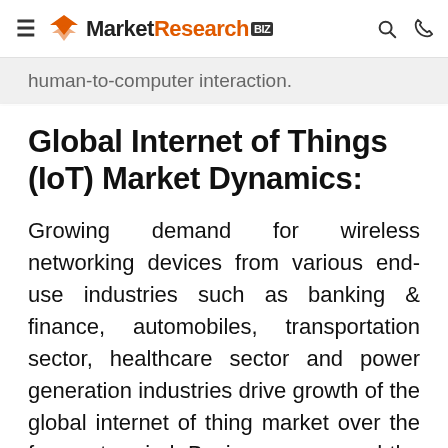MarketResearch.biz
human-to-computer interaction.
Global Internet of Things (IoT) Market Dynamics:
Growing demand for wireless networking devices from various end-use industries such as banking & finance, automobiles, transportation sector, healthcare sector and power generation industries drive growth of the global internet of thing market over the forecast period. Businesses, around the world, are seeking new operating